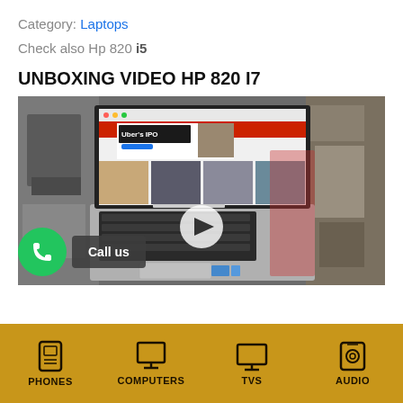Category: Laptops
Check also Hp 820 i5
UNBOXING VIDEO HP 820 I7
[Figure (screenshot): Video thumbnail showing an HP 820 laptop with a news website on screen, with a play button overlay. Below the video is a 'Call us' button with a green phone icon.]
PHONES  COMPUTERS  TVS  AUDIO